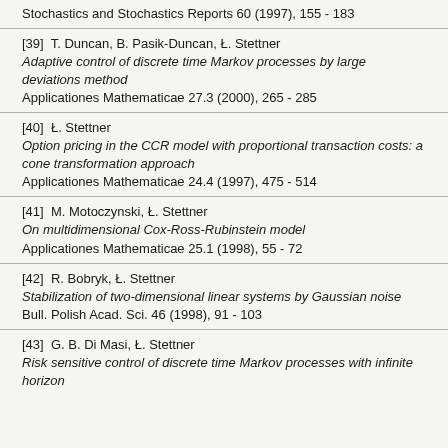Stochastics and Stochastics Reports 60 (1997), 155 - 183
[39]  T. Duncan, B. Pasik-Duncan, Ł. Stettner
Adaptive control of discrete time Markov processes by large deviations method
Applicationes Mathematicae 27.3 (2000), 265 - 285
[40]  Ł. Stettner
Option pricing in the CCR model with proportional transaction costs: a cone transformation approach
Applicationes Mathematicae 24.4 (1997), 475 - 514
[41]  M. Motoczynski, Ł. Stettner
On multidimensional Cox-Ross-Rubinstein model
Applicationes Mathematicae 25.1 (1998), 55 - 72
[42]  R. Bobryk, Ł. Stettner
Stabilization of two-dimensional linear systems by Gaussian noise
Bull. Polish Acad. Sci. 46 (1998), 91 - 103
[43]  G. B. Di Masi, Ł. Stettner
Risk sensitive control of discrete time Markov processes with infinite horizon...